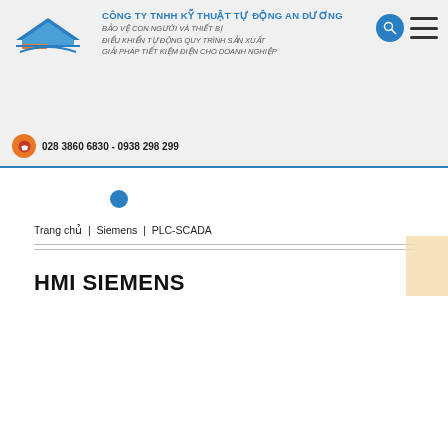CÔNG TY TNHH KỸ THUẬT TỰ ĐỘNG AN DƯƠNG
BẢO VỆ CON NGƯỜI VÀ THIẾT BỊ
ĐIỀU KHIỂN TỰ ĐỘNG QUY TRÌNH SẢN XUẤT
GIẢI PHÁP TIẾT KIỆM ĐIỆN CHO DOANH NGHIỆP
028 3860 6830 - 0938 298 299
Trang chủ  |  Siemens  |  PLC-SCADA
HMI SIEMENS